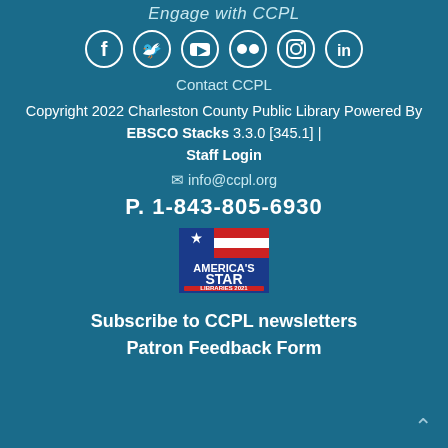Engage with CCPL
[Figure (illustration): Social media icons: Facebook, Twitter, YouTube, Flickr, Instagram, LinkedIn — white icons on teal background]
Contact CCPL
Copyright 2022 Charleston County Public Library Powered By EBSCO Stacks 3.3.0 [345.1] | Staff Login
✉ info@ccpl.org
P. 1-843-805-6930
[Figure (logo): America's Star Libraries 2021 badge with red, white and blue stripes]
Subscribe to CCPL newsletters
Patron Feedback Form